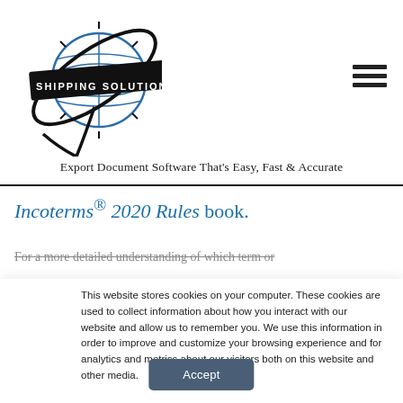[Figure (logo): Shipping Solutions logo: globe with orbital ring and black banner reading SHIPPING SOLUTIONS]
Export Document Software That's Easy, Fast & Accurate
Incoterms® 2020 Rules book.
For a more detailed understanding of which term or
This website stores cookies on your computer. These cookies are used to collect information about how you interact with our website and allow us to remember you. We use this information in order to improve and customize your browsing experience and for analytics and metrics about our visitors both on this website and other media.
Accept